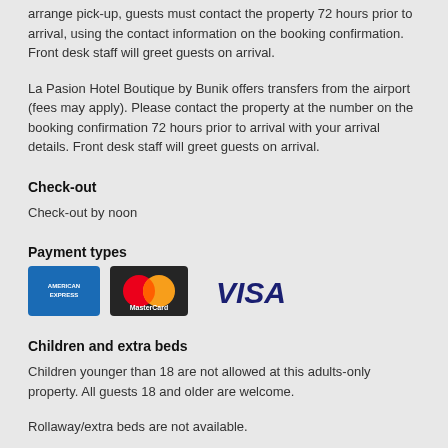arrange pick-up, guests must contact the property 72 hours prior to arrival, using the contact information on the booking confirmation. Front desk staff will greet guests on arrival.
La Pasion Hotel Boutique by Bunik offers transfers from the airport (fees may apply). Please contact the property at the number on the booking confirmation 72 hours prior to arrival with your arrival details. Front desk staff will greet guests on arrival.
Check-out
Check-out by noon
Payment types
[Figure (logo): American Express, MasterCard, and Visa payment logos]
Children and extra beds
Children younger than 18 are not allowed at this adults-only property. All guests 18 and older are welcome.
Rollaway/extra beds are not available.
Cribs (infant beds) are not available.